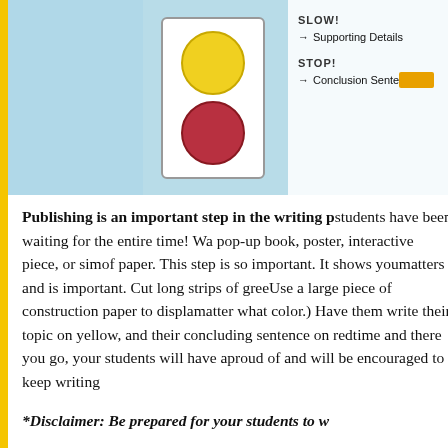[Figure (photo): Partial photo showing a traffic light display with yellow and red circles on a white board with handwritten text: SLOW! Supporting Details, STOP! Conclusion Sentence (with a blurred/redacted tag)]
Publishing is an important step in the writing p[rocess—the step] students have been waiting for the entire time! [You can publish as] a pop-up book, poster, interactive piece, or sim[ply a nice piece] of paper. This step is so important. It shows you[r students that it] matters and is important. Cut long strips of gree[n, yellow, and red.] Use a large piece of construction paper to displa[y them. (It doesn't] matter what color.) Have them write their topic [sentence on green,] on yellow, and their concluding sentence on red[. With just a little] time and there you go, your students will have a [finished piece to be] proud of and will be encouraged to keep writing[!]
*Disclaimer: Be prepared for your students to w[ant to write more after] [completing this!]